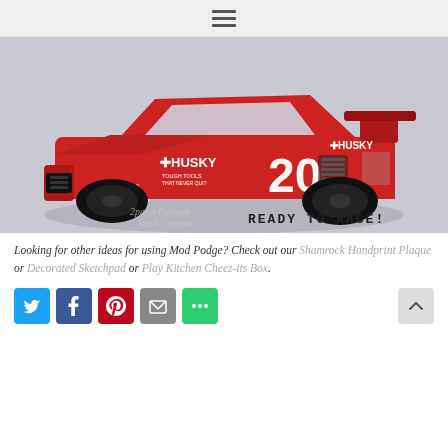≡
[Figure (photo): A red Toyota Camry NASCAR-style model car (number 20) with Husky Tools branding, shown in three-quarter front view on a white background. Text overlay reads 'READY TO RACE!' in the lower right. Watermark reads '2paws Designs Sarah Coggins'.]
Looking for other ideas for using Mod Podge? Check out our Shamrock Handprint Plaque or Decorated Sketchpad or Play Kitchen Cheez-its Box.
[Figure (infographic): Social share buttons: Twitter (blue), Facebook (blue), Pinterest (red), Email (grey), More (green). Back-to-top arrow on the right.]